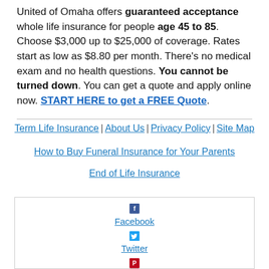United of Omaha offers guaranteed acceptance whole life insurance for people age 45 to 85. Choose $3,000 up to $25,000 of coverage. Rates start as low as $8.80 per month. There's no medical exam and no health questions. You cannot be turned down. You can get a quote and apply online now. START HERE to get a FREE Quote.
Term Life Insurance | About Us | Privacy Policy | Site Map
How to Buy Funeral Insurance for Your Parents
End of Life Insurance
[Figure (other): Social media icons box containing Facebook (blue square with f), Twitter (blue square with bird), and Pinterest (red square with P) icons with labels]